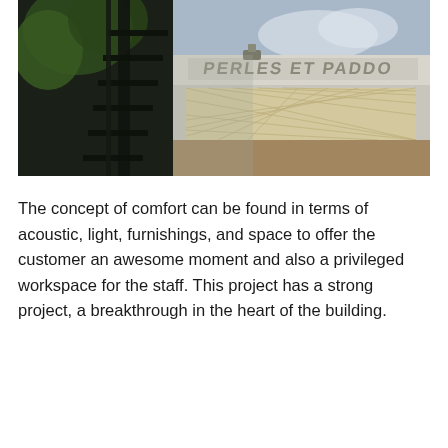[Figure (photo): Exterior photo of a building facade showing 'PERLES ET PADDO' lettering on a modern glass and metal facade with decorative lattice panel. Left side shows trees and an external staircase in shadow.]
The concept of comfort can be found in terms of acoustic, light, furnishings, and space to offer the customer an awesome moment and also a privileged workspace for the staff. This project has a strong project, a breakthrough in the heart of the building.